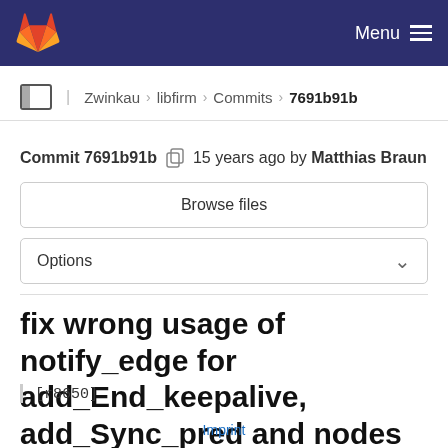Menu
Zwinkau > libfirm > Commits > 7691b91b
Commit 7691b91b  15 years ago by Matthias Braun
Browse files
Options
fix wrong usage of notify_edge for add_End_keepalive, add_Sync_pred and nodes with variable arity
[r8650]
Imprint